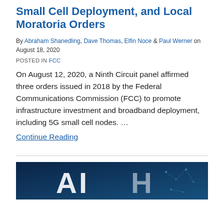Small Cell Deployment, and Local Moratoria Orders
By Abraham Shanedling, Dave Thomas, Elfin Noce & Paul Werner on August 18, 2020
POSTED IN FCC
On August 12, 2020, a Ninth Circuit panel affirmed three orders issued in 2018 by the Federal Communications Commission (FCC) to promote infrastructure investment and broadband deployment, including 5G small cell nodes. …
Continue Reading
[Figure (photo): Dark blue technology background image with large white 'AI' letters and circuit board patterns visible]